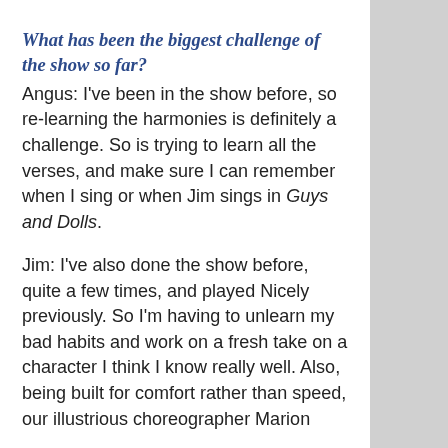What has been the biggest challenge of the show so far?
Angus: I've been in the show before, so re-learning the harmonies is definitely a challenge. So is trying to learn all the verses, and make sure I can remember when I sing or when Jim sings in Guys and Dolls.
Jim: I've also done the show before, quite a few times, and played Nicely previously. So I'm having to unlearn my bad habits and work on a fresh take on a character I think I know really well. Also, being built for comfort rather than speed, our illustrious choreographer Marion